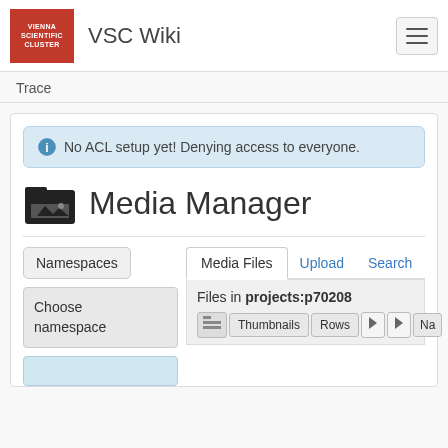VSC Wiki
Trace
No ACL setup yet! Denying access to everyone.
Media Manager
Namespaces
Choose namespace
Media Files | Upload | Search
Files in projects:p70208
Thumbnails  Rows  Na…